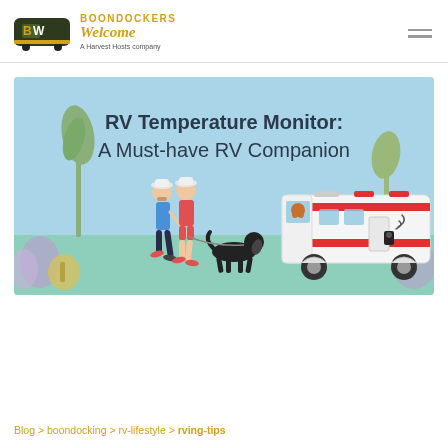BOONDOCKERS Welcome — A Harvest Hosts company
[Figure (illustration): Hero banner with light blue background showing the text 'RV Temperature Monitor: A Must-have RV Companion'. Illustrated couple walking a dog on a leash on the left, and a white and red RV motorhome with a dog visible through the windshield and a camera device on the door on the right. Palm trees and foliage in background.]
Blog > boondocking > rv-lifestyle > rving-tips